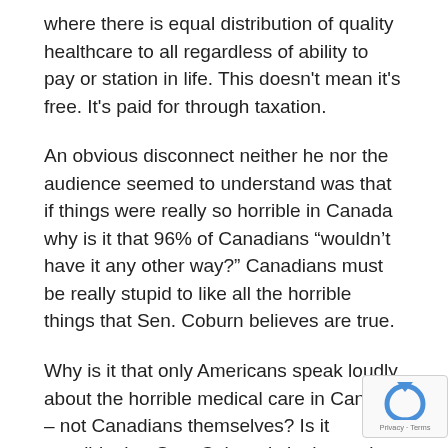where there is equal distribution of quality healthcare to all regardless of ability to pay or station in life. This doesn't mean it's free. It's paid for through taxation.
An obvious disconnect neither he nor the audience seemed to understand was that if things were really so horrible in Canada why is it that 96% of Canadians “wouldn't have it any other way?” Canadians must be really stupid to like all the horrible things that Sen. Coburn believes are true.
Why is it that only Americans speak loudly about the horrible medical care in Canada – not Canadians themselves? Is it possible that Sen. Coburn is in the pocket of the for-profit medical insurance industry which would do anything to prevent a sensible non-profit single payer system [paid public taxation].